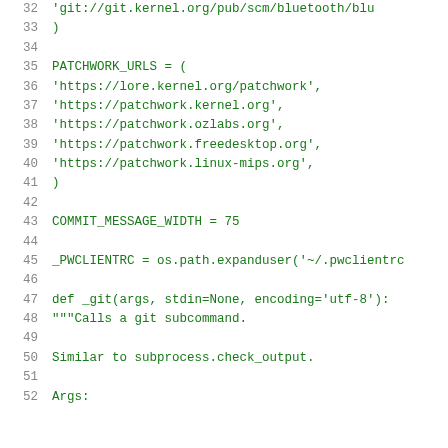Code listing lines 32-52: Python source code showing PATCHWORK_URLS list, COMMIT_MESSAGE_WIDTH, _PWCLIENTRC, and _git function definition